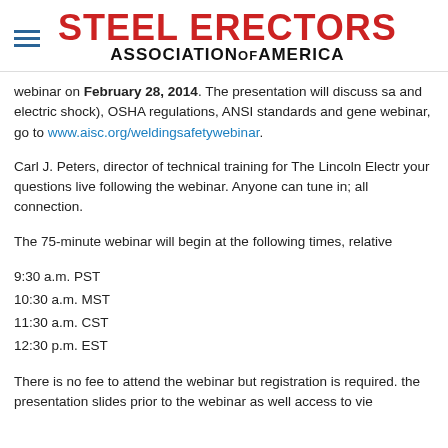Steel Erectors Association of America
webinar on February 28, 2014. The presentation will discuss sa (and electric shock), OSHA regulations, ANSI standards and gene webinar, go to www.aisc.org/weldingsafetywebinar.
Carl J. Peters, director of technical training for The Lincoln Electr your questions live following the webinar. Anyone can tune in; all connection.
The 75-minute webinar will begin at the following times, relative
9:30 a.m. PST
10:30 a.m. MST
11:30 a.m. CST
12:30 p.m. EST
There is no fee to attend the webinar but registration is required. the presentation slides prior to the webinar as well access to vie